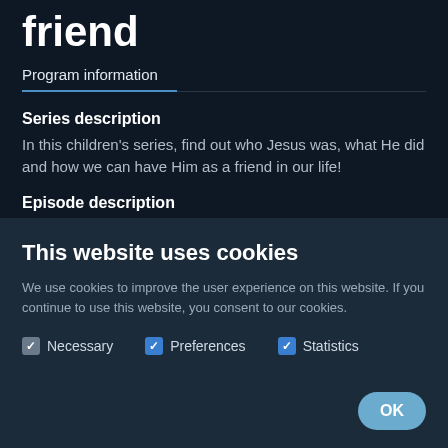friend
Program information
Series description
In this children's series, find out who Jesus was, what He did and how we can have Him as a friend in our life!
Episode description
Watch the characters from the "Jesus is my friend" series
This website uses cookies
We use cookies to improve the user experience on this website. If you continue to use this website, you consent to our cookies.
Necessary   Preferences   Statistics
OK